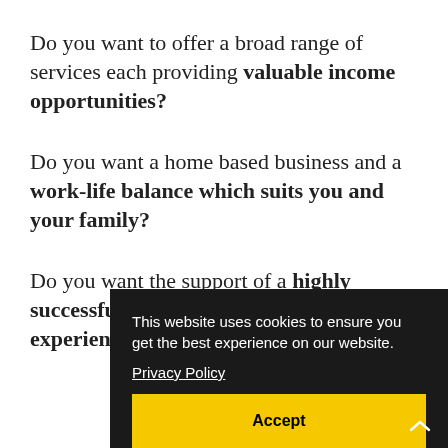Do you want to offer a broad range of services each providing valuable income opportunities?
Do you want a home based business and a work-life balance which suits you and your family?
Do you want the support of a highly successful business with 15 years' experience operating in the sector?
This website uses cookies to ensure you get the best experience on our website. Privacy Policy Accept